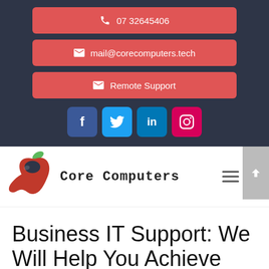07 32645406
mail@corecomputers.tech
Remote Support
[Figure (logo): Core Computers logo with red apple and green leaf, brand name 'CORE COMPUTERS' in bold monospace font]
Business IT Support: We Will Help You Achieve Your Business Goals